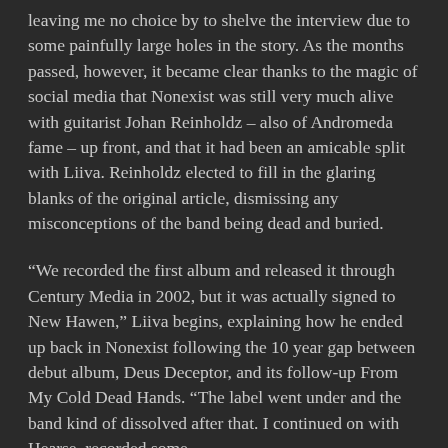leaving me no choice by to shelve the interview due to some painfully large holes in the story. As the months passed, however, it became clear thanks to the magic of social media that Nonexist was still very much alive with guitarist Johan Reinholdz – also of Andromeda fame – up front, and that it had been an amicable split with Liiva. Reinholdz elected to fill in the glaring blanks of the original article, dismissing any misconceptions of the band being dead and buried.
“We recorded the first album and released it through Century Media in 2002, but it was actually signed to New Hawen,” Liiva begins, explaining how he ended up back in Nonexist following the 10 year gap between debut album, Deus Deceptor, and its follow-up From My Cold Dead Hands. “The label went under and the band kind of dissolved after that. I continued on with Hearse, recorded some